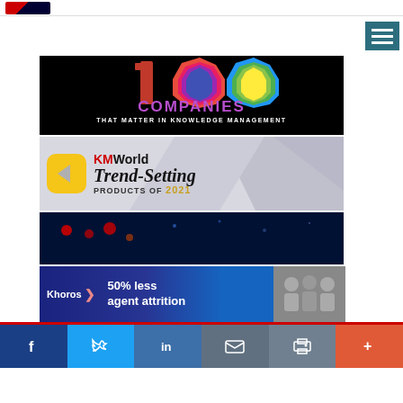KMWorld header bar with logo
[Figure (illustration): Hamburger menu button with three white lines on dark teal background]
[Figure (illustration): 100 Companies That Matter In Knowledge Management banner - black background with colorful geometric shapes forming '100', purple COMPANIES text, white subtitle]
[Figure (illustration): KMWorld Trend-Setting Products of 2021 banner - gray geometric background with yellow rounded square icon containing arrow, KM red/black logo text, italic Trend-Setting in black, PRODUCTS OF 2021 with gold year]
[Figure (illustration): Partial dark blue banner with red dots/lights partially visible]
[Figure (illustration): Khoros advertisement banner - 50% less agent attrition - dark blue background with Khoros logo, white text, photo of people on right]
Social sharing bar: Facebook, Twitter, LinkedIn, Email, Print, More